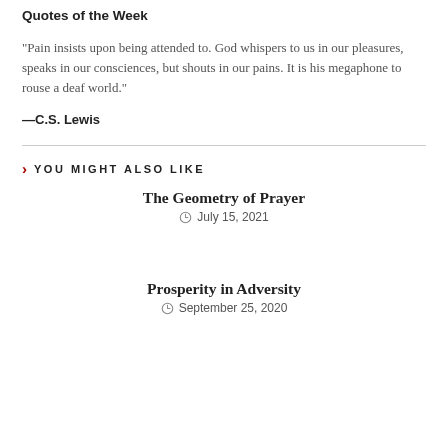Quotes of the Week
“Pain insists upon being attended to. God whispers to us in our pleasures, speaks in our consciences, but shouts in our pains. It is his megaphone to rouse a deaf world.”
—C.S. Lewis
YOU MIGHT ALSO LIKE
The Geometry of Prayer
July 15, 2021
Prosperity in Adversity
September 25, 2020